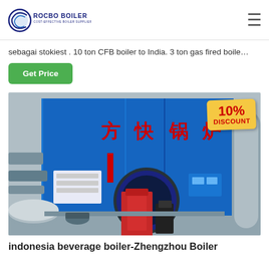[Figure (logo): Rocbo Boiler logo — circular blue/dark icon with 'ROCBO BOILER' in bold dark blue text and 'COST-EFFECTIVE BOILER SUPPLIER' subtitle]
sebagai stokiest . 10 ton CFB boiler to India. 3 ton gas fired boile…
Get Price
[Figure (photo): Industrial gas-fired boiler in blue casing with Chinese characters 方快锅炉 in red on the front panel, red burner unit visible, pipes and equipment around it, 10% DISCOUNT badge overlay]
indonesia beverage boiler-Zhengzhou Boiler